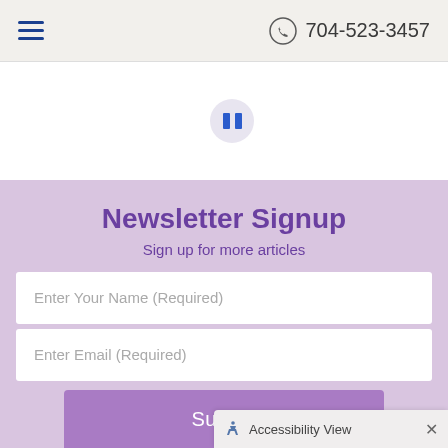704-523-3457
[Figure (other): Pause button circle icon with two vertical bars]
Newsletter Signup
Sign up for more articles
Enter Your Name (Required)
Enter Email (Required)
Submit
Accessibility View